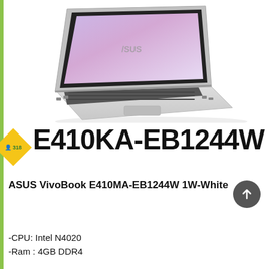[Figure (photo): ASUS VivoBook laptop shown at an angle, open, with purple/pink wallpaper on screen, silver chassis and black keyboard, on white background]
E410KA-EB1244W
ASUS VivoBook E410MA-EB1244W 1W-White
-CPU: Intel N4020
-Ram : 4GB DDR4